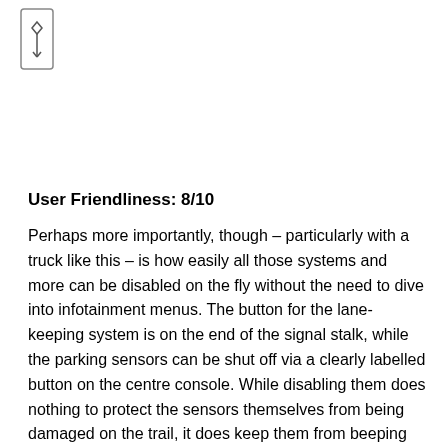[Figure (illustration): Small vertical scroll bar or elevator icon with diamond/arrow shape in a narrow rectangular border]
User Friendliness: 8/10
Perhaps more importantly, though – particularly with a truck like this – is how easily all those systems and more can be disabled on the fly without the need to dive into infotainment menus. The button for the lane-keeping system is on the end of the signal stalk, while the parking sensors can be shut off via a clearly labelled button on the centre console. While disabling them does nothing to protect the sensors themselves from being damaged on the trail, it does keep them from beeping incessantly with each passing tree branch.
The console is also home to controls for the locking rear differential, tow/haul mode, traction control, and trail control (essentially off-road cruise control), as well as a rotary dial to engage four-wheel drive when it's needed and a terrain management system button in the centre of it. While the four-wheel drive system lacks an automatic setting, both four-high and four-low settings are but a quick spin away, chipping in